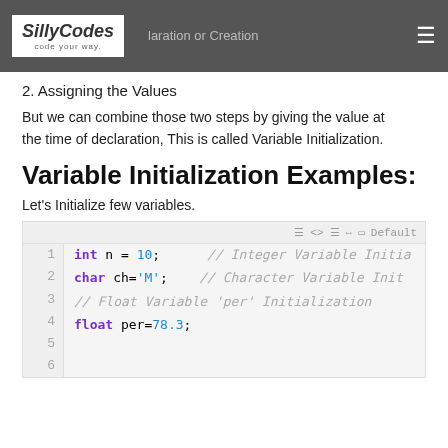SillyCodes — Declaration or Creation
2. Assigning the Values
But we can combine those two steps by giving the value at the time of declaration, This is called Variable Initialization.
Variable Initialization Examples:
Let's Initialize few variables.
[Figure (screenshot): Code block showing variable initialization examples in C/C++: int n = 10; // Integer Variable Initialization, char ch='M'; // Character Variable Initialization, // Float Variable 'per' Initialization, float per=78.3;]